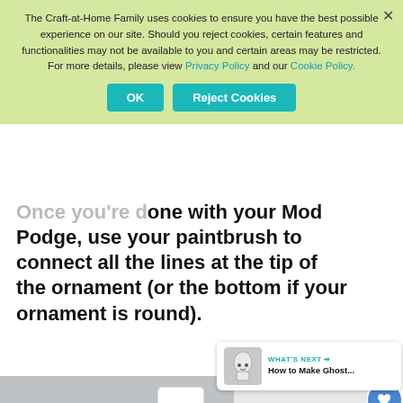The Craft-at-Home Family uses cookies to ensure you have the best possible experience on our site. Should you reject cookies, certain features and functionalities may not be available to you and certain areas may be restricted. For more details, please view Privacy Policy and our Cookie Policy.
Once you're done with your Mod Podge, use your paintbrush to connect all the lines at the tip of the ornament (or the bottom if your ornament is round).
[Figure (photo): Hand holding a Mod Podge bottle above a white yarn-wrapped ornament ball, on a gray and white background. Social sidebar with heart button (34 likes) and share button visible on the right. A 'What's Next' widget shows 'How to Make Ghost...' with a ghost image thumbnail.]